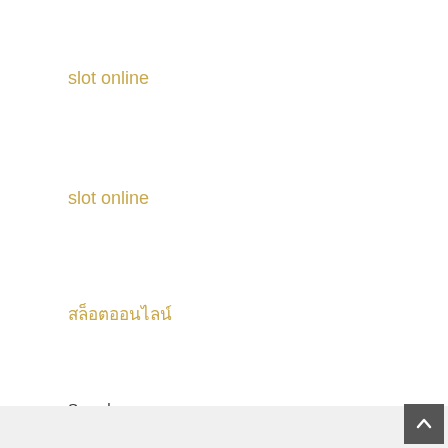slot online
slot online
สล็อตออนไลน์
Search